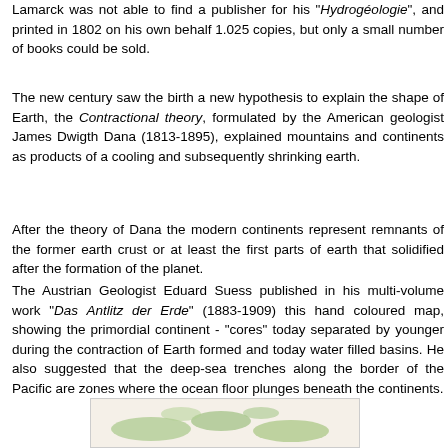Lamarck was not able to find a publisher for his "Hydrogéologie", and printed in 1802 on his own behalf 1.025 copies, but only a small number of books could be sold.
The new century saw the birth a new hypothesis to explain the shape of Earth, the Contractional theory, formulated by the American geologist James Dwigth Dana (1813-1895), explained mountains and continents as products of a cooling and subsequently shrinking earth.
After the theory of Dana the modern continents represent remnants of the former earth crust or at least the first parts of earth that solidified after the formation of the planet.
The Austrian Geologist Eduard Suess published in his multi-volume work "Das Antlitz der Erde" (1883-1909) this hand coloured map, showing the primordial continent - "cores" today separated by younger during the contraction of Earth formed and today water filled basins. He also suggested that the deep-sea trenches along the border of the Pacific are zones where the ocean floor plunges beneath the continents.
[Figure (illustration): Partial view of a hand-coloured historical map showing primordial continent cores, with green land masses visible against a light background.]